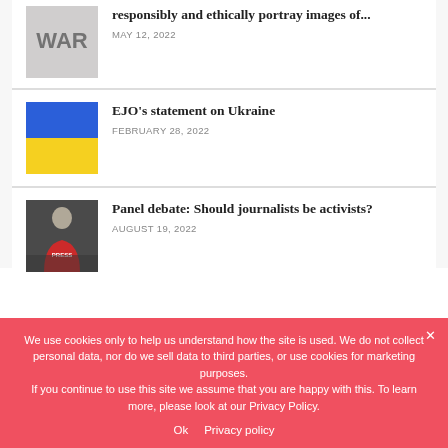[Figure (photo): WAR text image thumbnail]
responsibly and ethically portray images of...
MAY 12, 2022
[Figure (illustration): Ukraine flag - blue and yellow]
EJO's statement on Ukraine
FEBRUARY 28, 2022
[Figure (photo): Person in red PRESS vest, back view]
Panel debate: Should journalists be activists?
AUGUST 19, 2022
We use cookies only to help us understand how the site is used. We do not collect personal data, nor do we sell data to third parties, or use cookies for marketing purposes.
If you continue to use this site we assume that you are happy with this. To learn more, please look at our Privacy Policy.
Ok   Privacy policy